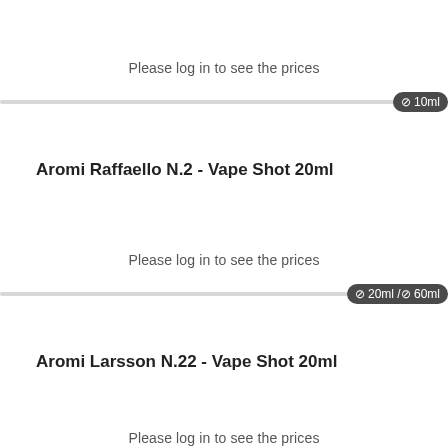Please log in to see the prices
10ml
Aromi Raffaello N.2 - Vape Shot 20ml
Please log in to see the prices
20ml /⊘ 60ml
Aromi Larsson N.22 - Vape Shot 20ml
Please log in to see the prices